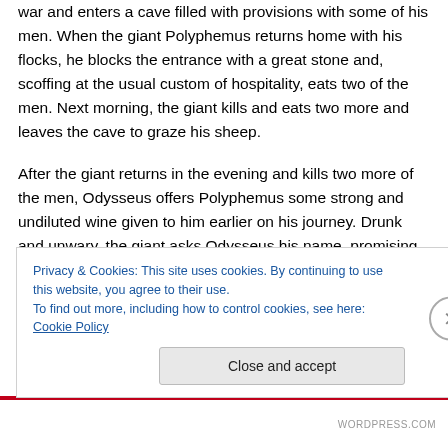war and enters a cave filled with provisions with some of his men. When the giant Polyphemus returns home with his flocks, he blocks the entrance with a great stone and, scoffing at the usual custom of hospitality, eats two of the men. Next morning, the giant kills and eats two more and leaves the cave to graze his sheep.
After the giant returns in the evening and kills two more of the men, Odysseus offers Polyphemus some strong and undiluted wine given to him earlier on his journey. Drunk and unwary, the giant asks Odysseus his name, promising him a guest gift if he answers. Odysseus tells him “Oῦτις”
Privacy & Cookies: This site uses cookies. By continuing to use this website, you agree to their use.
To find out more, including how to control cookies, see here: Cookie Policy
Close and accept